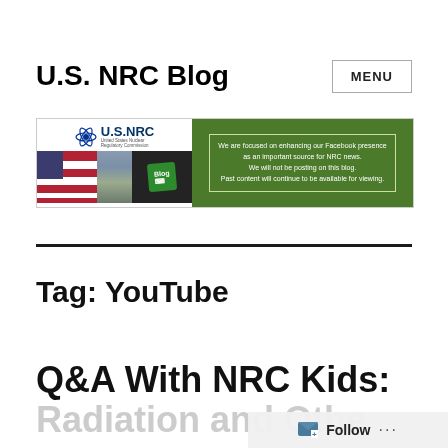U.S. NRC Blog
[Figure (screenshot): U.S. NRC Blog banner image with NRC logo, American flag, building, and keyboard with Blog key on the left, and a green panel on the right with a message: 'We are focused on enhancing our Facebook presence as an important source for NRC news. We will not be posting on this blog. Past content will continue to be available for viewing.']
Tag: YouTube
O&A With NRC Kids:
Radiation and Othe...